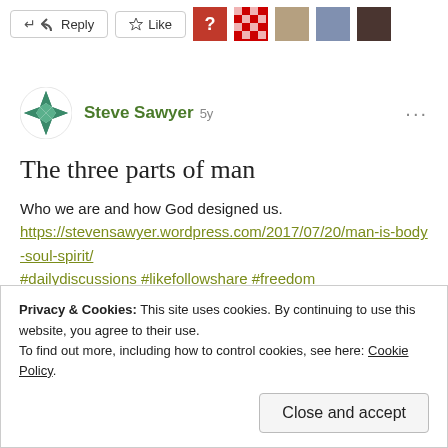[Figure (other): Top bar with Reply button, Like button, and five user avatar icons]
[Figure (logo): Quilt-pattern star avatar for Steve Sawyer]
Steve Sawyer 5y
The three parts of man
Who we are and how God designed us.
https://stevensawyer.wordpress.com/2017/07/20/man-is-body-soul-spirit/
#dailydiscussions #likefollowshare #freedom
Privacy & Cookies: This site uses cookies. By continuing to use this website, you agree to their use.
To find out more, including how to control cookies, see here: Cookie Policy